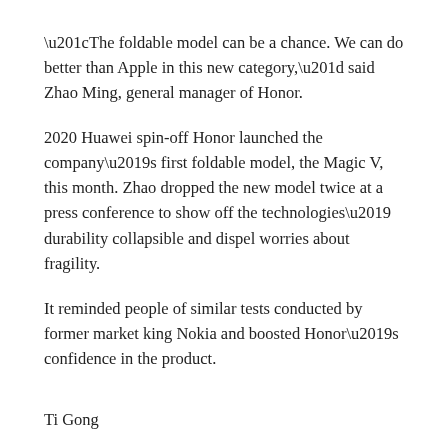“The foldable model can be a chance. We can do better than Apple in this new category,” said Zhao Ming, general manager of Honor.
2020 Huawei spin-off Honor launched the company’s first foldable model, the Magic V, this month. Zhao dropped the new model twice at a press conference to show off the technologies’ durability collapsible and dispel worries about fragility.
It reminded people of similar tests conducted by former market king Nokia and boosted Honor’s confidence in the product.
Ti Gong
Honor released its Magic V foldable screen smartphone this month and sees a chance to outperform Apple’s iPhones.